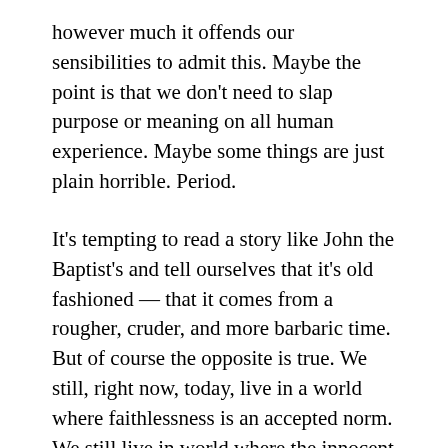however much it offends our sensibilities to admit this. Maybe the point is that we don't need to slap purpose or meaning on all human experience. Maybe some things are just plain horrible. Period.
It's tempting to read a story like John the Baptist's and tell ourselves that it's old fashioned — that it comes from a rougher, cruder, and more barbaric time. But of course the opposite is true. We still, right now, today, live in a world where faithlessness is an accepted norm. We still live in world where the innocent are detained, imprisoned, tormented, and killed. We still live in a world of sudden and random violence. We still live in a world where